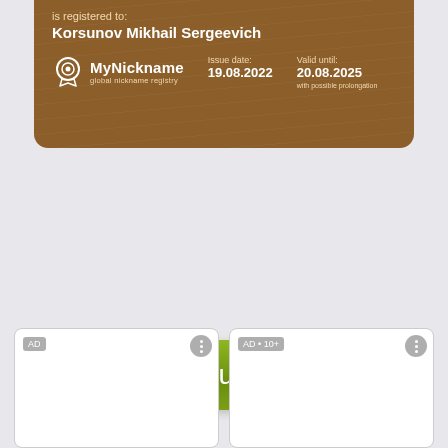[Figure (other): MyNickname global nickname registry certificate card showing registration to Korsunov Mikhail Sergeevich, issue date 19.08.2022, valid until 20.08.2025 with possible prolongation]
Register your nickname
Nickname generator
[Figure (other): Advertisement box labeled AD]
[Figure (other): Advertisement box labeled AD • 10+]